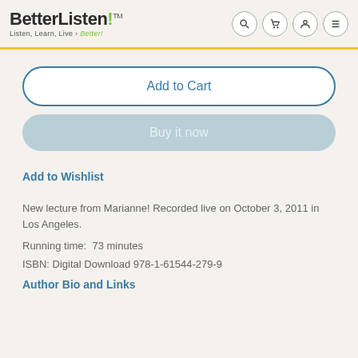BetterListen! TM — Listen, Learn, Live • Better!
Add to Cart
Buy it now
Add to Wishlist
New lecture from Marianne! Recorded live on October 3, 2011 in Los Angeles.
Running time:  73 minutes
ISBN: Digital Download 978-1-61544-279-9
Author Bio and Links